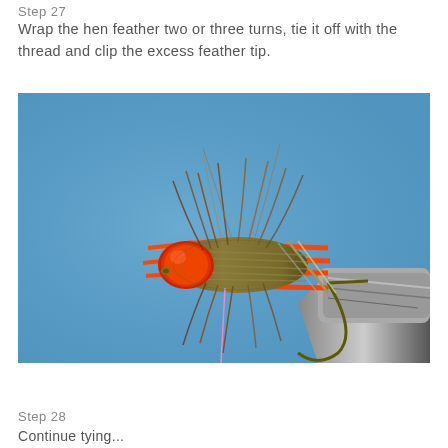Step 27
Wrap the hen feather two or three turns, tie it off with the thread and clip the excess feather tip.
[Figure (photo): Close-up macro photograph of a fly fishing lure against a blue background. The lure features a bright orange/red bead head, orange rubber legs, an olive/brown hackle feather wrapped around the body, a metallic wire-ribbed body, and is held in a fly-tying vise on the right side. A pink tying thread hangs down from the hook. The lure appears to be a wet fly or nymph pattern in progress.]
Step 28
Continue tying...